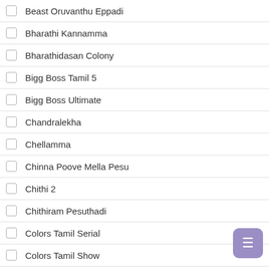Beast Oruvanthu Eppadi
Bharathi Kannamma
Bharathidasan Colony
Bigg Boss Tamil 5
Bigg Boss Ultimate
Chandralekha
Chellamma
Chinna Poove Mella Pesu
Chithi 2
Chithiram Pesuthadi
Colors Tamil Serial
Colors Tamil Show
Cook With Comali
Dance Jodi Dance Reloaded
Deivam Thantha Poove